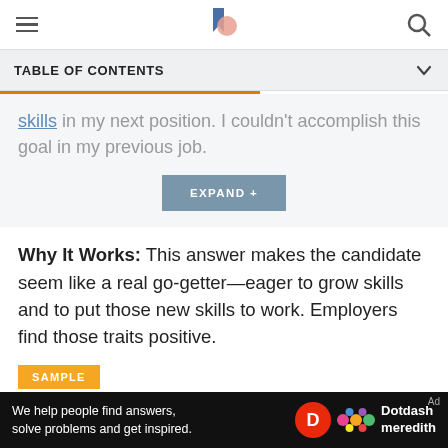TABLE OF CONTENTS
skills in my next position. I couldn't accomplish this goal in my previous job.
Why It Works: This answer makes the candidate seem like a real go-getter—eager to grow skills and to put those new skills to work. Employers find those traits positive.
SAMPLE
I left my last position in order to spend more time
We help people find answers, solve problems and get inspired. Dotdash meredith